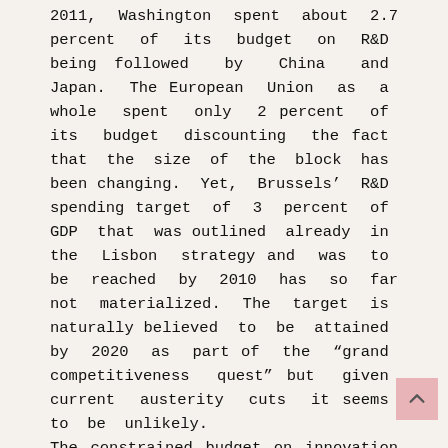2011, Washington spent about 2.7 percent of its budget on R&D being followed by China and Japan. The European Union as a whole spent only 2 percent of its budget discounting the fact that the size of the block has been changing. Yet, Brussels' R&D spending target of 3 percent of GDP that was outlined already in the Lisbon strategy and was to be reached by 2010 has so far not materialized. The target is naturally believed to be attained by 2020 as part of the "grand competitiveness quest" but given current austerity cuts it seems to be unlikely.
The constrained budget on innovation is, however, surely not the only decisive factor why the EU lags...